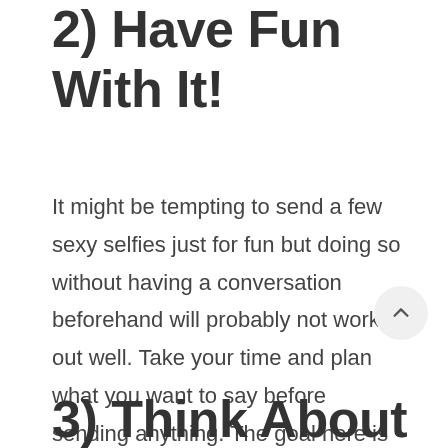2) Have Fun With It!
It might be tempting to send a few sexy selfies just for fun but doing so without having a conversation beforehand will probably not work out well. Take your time and plan what you want to say before sending anything. The goal here is to have a good conversation and have fun while doing so.
3) Think About